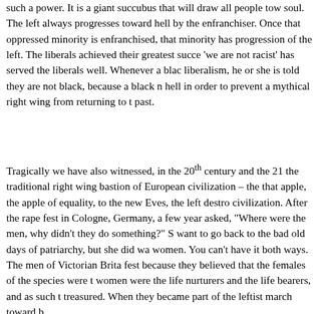such a power. It is a giant succubus that will draw all people tow soul. The left always progresses toward hell by the enfranchiser. Once that oppressed minority is enfranchised, that minority has progression of the left. The liberals achieved their greatest succe 'we are not racist' has served the liberals well. Whenever a blac liberalism, he or she is told they are not black, because a black n hell in order to prevent a mythical right wing from returning to t past.
Tragically we have also witnessed, in the 20th century and the 21 the traditional right wing bastion of European civilization – the that apple, the apple of equality, to the new Eves, the left destro civilization. After the rape fest in Cologne, Germany, a few year asked, "Where were the men, why didn't they do something?" S want to go back to the bad old days of patriarchy, but she did wa women. You can't have it both ways. The men of Victorian Brita fest because they believed that the females of the species were t women were the life nurturers and the life bearers, and as such t treasured. When they became part of the leftist march toward b